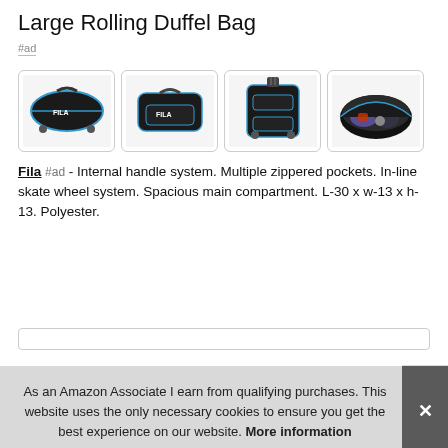Large Rolling Duffel Bag
#ad
[Figure (photo): Four product photos of a Fila large rolling duffel bag: side view with wheels, front view, top-down with wheels extended, and open interior view.]
Fila #ad - Internal handle system. Multiple zippered pockets. In-line skate wheel system. Spacious main compartment. L-30 x w-13 x h-13. Polyester.
As an Amazon Associate I earn from qualifying purchases. This website uses the only necessary cookies to ensure you get the best experience on our website. More information